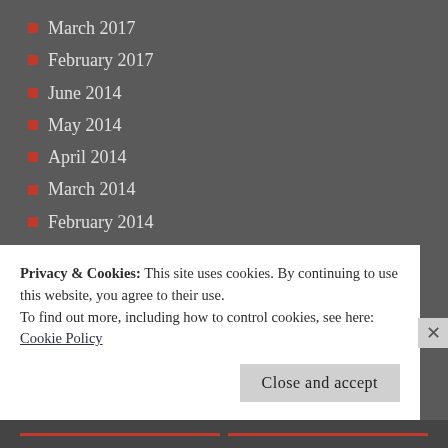March 2017
February 2017
June 2014
May 2014
April 2014
March 2014
February 2014
January 2014
December 2013
November 2013
October 2013
September 2013
August 2013
July 2013
June 2013
May 2013
Privacy & Cookies: This site uses cookies. By continuing to use this website, you agree to their use. To find out more, including how to control cookies, see here: Cookie Policy